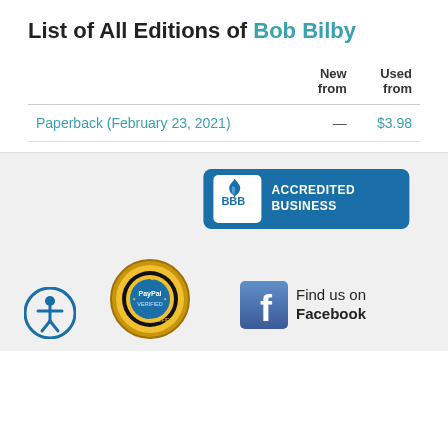List of All Editions of Bob Bilby
|  | New from | Used from |
| --- | --- | --- |
| Paperback (February 23, 2021) | — | $3.98 |
[Figure (logo): BBB Accredited Business badge with blue background]
[Figure (logo): PayPal Verified seal/badge in gold and black]
[Figure (logo): Find us on Facebook badge with Facebook icon]
[Figure (logo): Accessibility icon (person in circle)]
Contact Us